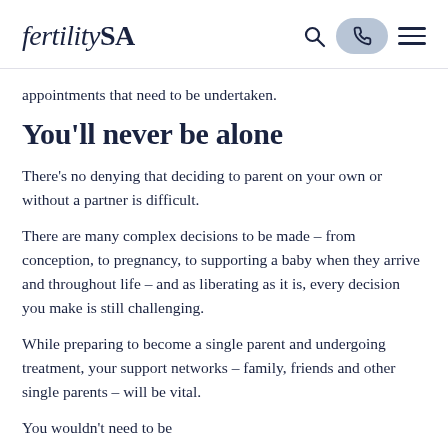fertilitySA
appointments that need to be undertaken.
You'll never be alone
There's no denying that deciding to parent on your own or without a partner is difficult.
There are many complex decisions to be made – from conception, to pregnancy, to supporting a baby when they arrive and throughout life – and as liberating as it is, every decision you make is still challenging.
While preparing to become a single parent and undergoing treatment, your support networks – family, friends and other single parents – will be vital.
You wouldn't need to be...